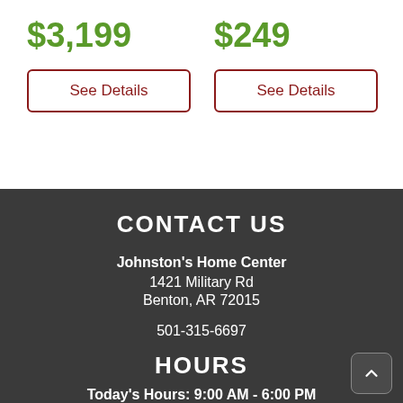$3,199
See Details
$249
See Details
CONTACT US
Johnston's Home Center
1421 Military Rd
Benton, AR 72015
501-315-6697
HOURS
Today's Hours: 9:00 AM - 6:00 PM